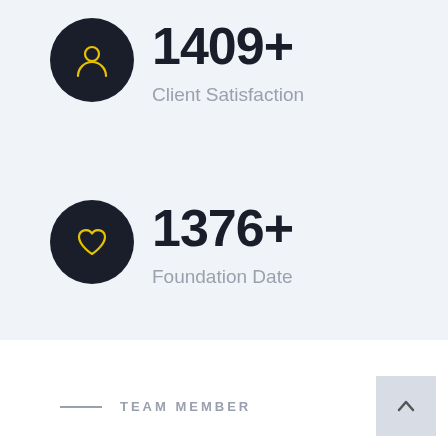[Figure (infographic): Dark circle icon with yellow person/user silhouette icon]
1409+
Client Satisfaction
[Figure (infographic): Dark circle icon with yellow heart outline icon]
1376+
Foundation Date
TEAM MEMBER